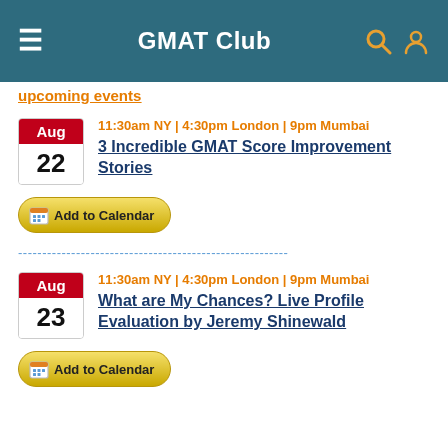GMAT Club
11:30am NY | 4:30pm London | 9pm Mumbai
3 Incredible GMAT Score Improvement Stories
Add to Calendar
--------------------------------------------------------
11:30am NY | 4:30pm London | 9pm Mumbai
What are My Chances? Live Profile Evaluation by Jeremy Shinewald
Add to Calendar